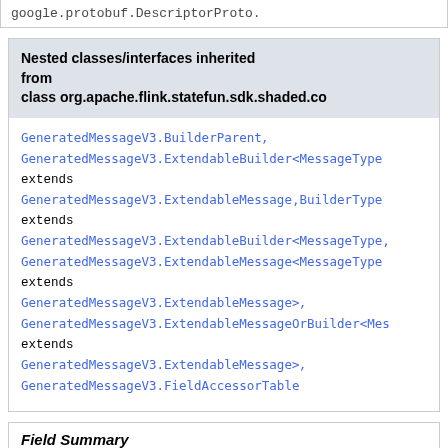google.protobuf.DescriptorProto.
Nested classes/interfaces inherited from class org.apache.flink.statefun.sdk.shaded.co
GeneratedMessageV3.BuilderParent, GeneratedMessageV3.ExtendableBuilder<MessageType extends GeneratedMessageV3.ExtendableMessage,BuilderType extends GeneratedMessageV3.ExtendableBuilder<MessageType, GeneratedMessageV3.ExtendableMessage<MessageType extends GeneratedMessageV3.ExtendableMessage>, GeneratedMessageV3.ExtendableMessageOrBuilder<Mes extends GeneratedMessageV3.ExtendableMessage>, GeneratedMessageV3.FieldAccessorTable
Field Summary